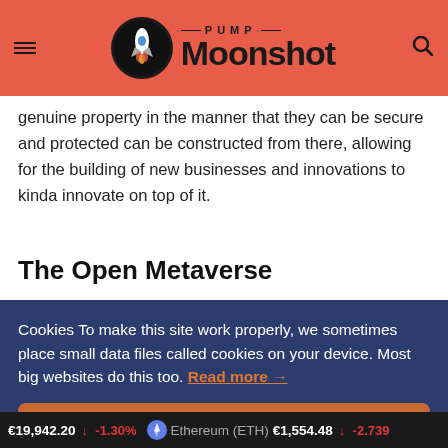PUMP Moonshot
genuine property in the manner that they can be secure and protected can be constructed from there, allowing for the building of new businesses and innovations to kinda innovate on top of it.
The Open Metaverse
Cookies To make this site work properly, we sometimes place small data files called cookies on your device. Most big websites do this too. Read more →
✔ Accept
Cookies Settings ⚙
€19,942.20 ↓ -1.30% Ethereum (ETH) €1,554.48 ↓ -2.739